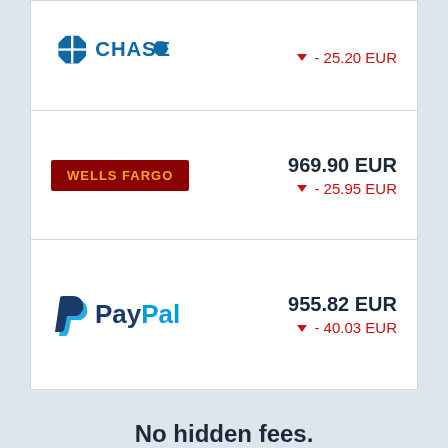[Figure (logo): Chase bank logo with blue octagon symbol and CHASE text]
▼ - 25.20 EUR
[Figure (logo): Wells Fargo logo: dark red rectangle with yellow text WELLS FARGO]
969.90 EUR
▼ - 25.95 EUR
[Figure (logo): PayPal logo: P symbol in blue shades and PayPal text]
955.82 EUR
▼ - 40.03 EUR
No hidden fees.
We're on a mission to bring transparency to finance, for people without borders. We charge as little as possible, and we always show you upfront. No hidden fees. No bad exchange rates. No surprises. How do we collect this data?